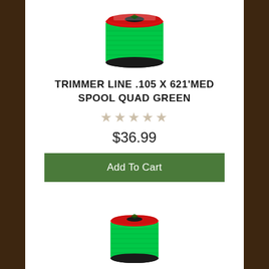[Figure (photo): Green trimmer line spool (medium spool, quad green) with red top label, viewed from slightly above, larger size]
TRIMMER LINE .105 x 621'MED SPOOL QUAD GREEN
★★★★★ (empty stars / no rating)
$36.99
Add To Cart
[Figure (photo): Green trimmer line spool (medium spool, quad green) with red top label, viewed from slightly above, smaller size at bottom of page]